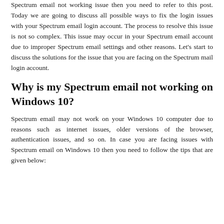Spectrum email not working issue then you need to refer to this post. Today we are going to discuss all possible ways to fix the login issues with your Spectrum email login account. The process to resolve this issue is not so complex. This issue may occur in your Spectrum email account due to improper Spectrum email settings and other reasons. Let's start to discuss the solutions for the issue that you are facing on the Spectrum mail login account.
Why is my Spectrum email not working on Windows 10?
Spectrum email may not work on your Windows 10 computer due to reasons such as internet issues, older versions of the browser, authentication issues, and so on. In case you are facing issues with Spectrum email on Windows 10 then you need to follow the tips that are given below: